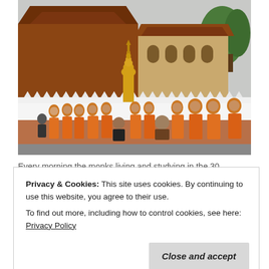[Figure (photo): Buddhist monks in orange robes walking in a line along a white wall outside a traditional Southeast Asian temple with gold stupa. Local people are seated along the wall offering alms. Trees and ornate temple buildings are visible in the background.]
Every morning the monks living and studying in the 30...
Privacy & Cookies: This site uses cookies. By continuing to use this website, you agree to their use.
To find out more, including how to control cookies, see here: Privacy Policy
Close and accept
things to do in Luang Prabang.